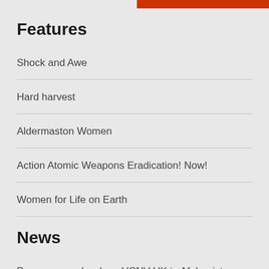Features
Shock and Awe
Hard harvest
Aldermaston Women
Action Atomic Weapons Eradication! Now!
Women for Life on Earth
News
Peace across borders: VCNV UK in Afghanistan
Kala…